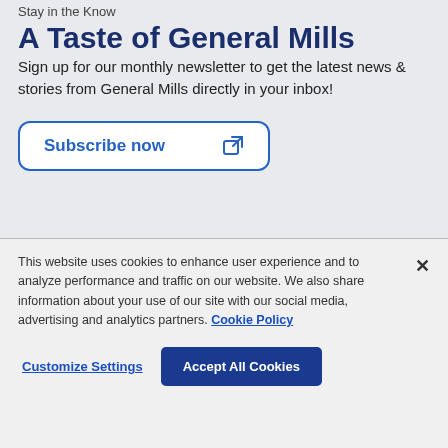Stay in the Know
A Taste of General Mills
Sign up for our monthly newsletter to get the latest news & stories from General Mills directly in your inbox!
Subscribe now
This website uses cookies to enhance user experience and to analyze performance and traffic on our website. We also share information about your use of our site with our social media, advertising and analytics partners. Cookie Policy
Customize Settings
Accept All Cookies